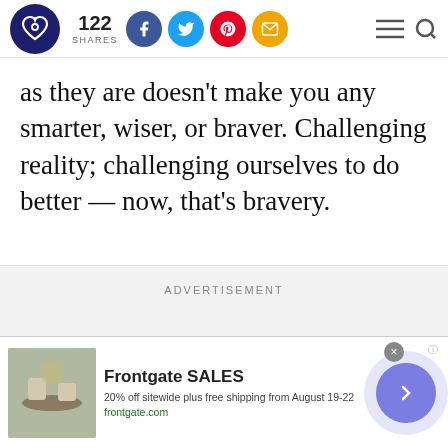122 SHARES — social share bar with Facebook, Twitter, Pinterest, Email icons; hamburger menu and search icon
as they are doesn't make you any smarter, wiser, or braver. Challenging reality; challenging ourselves to do better — now, that's bravery.
ADVERTISEMENT
[Figure (other): Advertisement banner for Frontgate SALES: 20% off sitewide plus free shipping from August 19-22. frontgate.com. Shows outdoor furniture image on left, arrow button on right.]